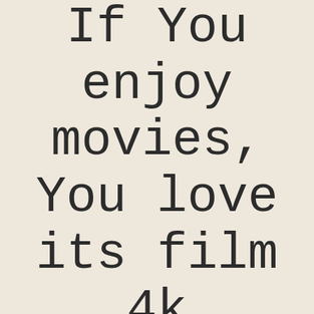If You enjoy movies, You love its film 4k
Published May 7, 2020 in Entertainment
Movie fans Contain the Choice to observe the movie Online or should they prefer they are also able to download it with minimal waiting period. About the other hand, finding the speech at which we want to relish the film is not going to be considered a issue